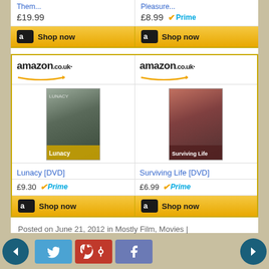[Figure (screenshot): Amazon.co.uk product card for Lunacy DVD showing price £19.99]
[Figure (screenshot): Amazon.co.uk product card for Pleasure DVD showing price £8.99 with Prime]
[Figure (screenshot): Amazon.co.uk product cards section with Lunacy [DVD] at £9.30 Prime and Surviving Life [DVD] at £6.99 Prime]
Posted on June 21, 2012 in Mostly Film, Movies | 🔗 Permalink | 💬 Comments (0)